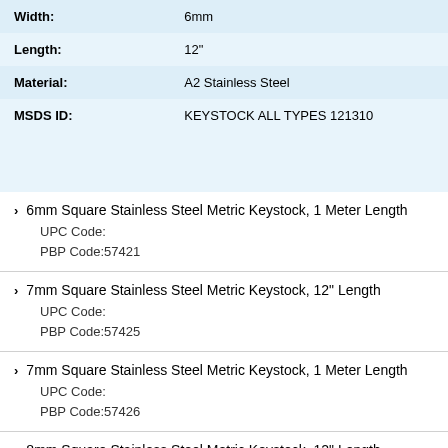| Property | Value |
| --- | --- |
| Width: | 6mm |
| Length: | 12" |
| Material: | A2 Stainless Steel |
| MSDS ID: | KEYSTOCK ALL TYPES 121310 |
6mm Square Stainless Steel Metric Keystock, 1 Meter Length
UPC Code:
PBP Code:57421
7mm Square Stainless Steel Metric Keystock, 12" Length
UPC Code:
PBP Code:57425
7mm Square Stainless Steel Metric Keystock, 1 Meter Length
UPC Code:
PBP Code:57426
8mm Square Stainless Steel Metric Keystock, 12" Length